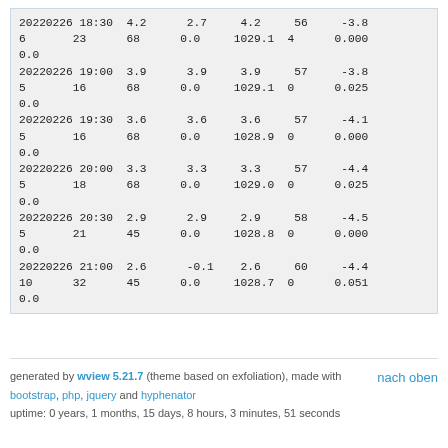| 20220226 18:30 | 4.2 | 2.7 | 4.2 | 56 | -3.8 |
| 6 | 23 | 68 | 0.0 | 1029.1 | 4 | 0.000 |
| 0.0 |  |  |  |  |  |  |
| 20220226 19:00 | 3.9 | 3.9 | 3.9 | 57 | -3.8 |
| 5 | 16 | 68 | 0.0 | 1029.1 | 0 | 0.025 |
| 0.0 |  |  |  |  |  |  |
| 20220226 19:30 | 3.6 | 3.6 | 3.6 | 57 | -4.1 |
| 5 | 16 | 68 | 0.0 | 1028.9 | 0 | 0.000 |
| 0.0 |  |  |  |  |  |  |
| 20220226 20:00 | 3.3 | 3.3 | 3.3 | 57 | -4.4 |
| 5 | 18 | 68 | 0.0 | 1029.0 | 0 | 0.025 |
| 0.0 |  |  |  |  |  |  |
| 20220226 20:30 | 2.9 | 2.9 | 2.9 | 58 | -4.5 |
| 5 | 21 | 45 | 0.0 | 1028.8 | 0 | 0.000 |
| 0.0 |  |  |  |  |  |  |
| 20220226 21:00 | 2.6 | -0.1 | 2.6 | 60 | -4.4 |
| 10 | 32 | 45 | 0.0 | 1028.7 | 0 | 0.051 |
| 0.0 |  |  |  |  |  |  |
generated by wview 5.21.7 (theme based on exfoliation), made with bootstrap, php, jquery and hyphenator
nach oben
uptime: 0 years, 1 months, 15 days, 8 hours, 3 minutes, 51 seconds